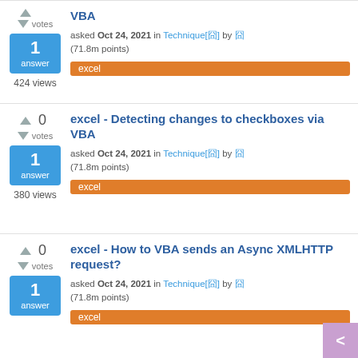VBA — asked Oct 24, 2021 in Technique by (71.8m points) | excel tag | 1 answer | 424 views
excel - Detecting changes to checkboxes via VBA — asked Oct 24, 2021 in Technique by (71.8m points) | excel tag | 1 answer | 380 views
excel - How to VBA sends an Async XMLHTTP request? — asked Oct 24, 2021 in Technique by (71.8m points) | excel tag | 1 answer